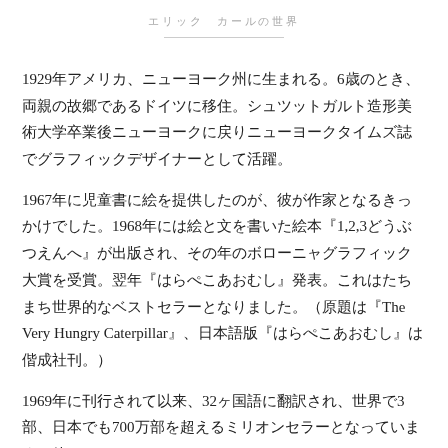エリック　カールの世界
1929年アメリカ、ニューヨーク州に生まれる。6歳のとき、両親の故郷であるドイツに移住。シュツットガルト造形美術大学卒業後ニューヨークに戻りニューヨークタイムズ誌でグラフィックデザイナーとして活躍。
1967年に児童書に絵を提供したのが、彼が作家となるきっかけでした。1968年には絵と文を書いた絵本『1,2,3どうぶつえんへ』が出版され、その年のボローニャグラフィック大賞を受賞。翌年『はらぺこあおむし』発表。これはたちまち世界的なベストセラーとなりました。（原題は『The Very Hungry Caterpillar』、日本語版『はらぺこあおむし』は偕成社刊。）
1969年に刊行されて以来、32ヶ国語に翻訳され、世界で3部、日本でも700万部を超えるミリオンセラーとなっています。他